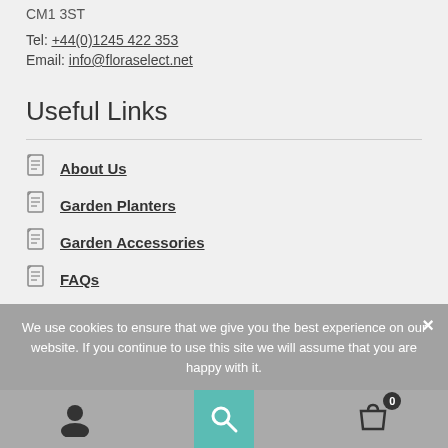CM1 3ST
Tel: +44(0)1245 422 353
Email: info@floraselect.net
Useful Links
About Us
Garden Planters
Garden Accessories
FAQs
We use cookies to ensure that we give you the best experience on our website. If you continue to use this site we will assume that you are happy with it.